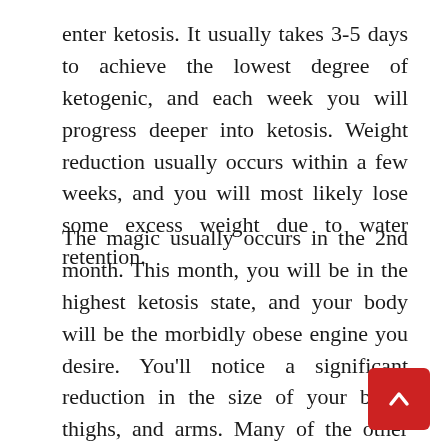enter ketosis. It usually takes 3-5 days to achieve the lowest degree of ketogenic, and each week you will progress deeper into ketosis. Weight reduction usually occurs within a few weeks, and you will most likely lose some excess weight due to water retention.
The magic usually occurs in the 2nd month. This month, you will be in the highest ketosis state, and your body will be the morbidly obese engine you desire. You'll notice a significant reduction in the size of your belly, thighs, and arms. Many of the other advantages of PureLife Keto will most likely become apparent to you as well.